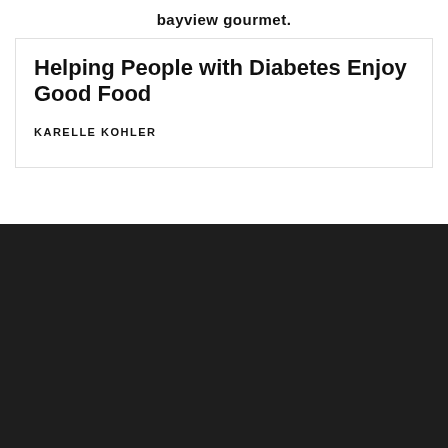bayview gourmet.
Helping People with Diabetes Enjoy Good Food
KARELLE KOHLER
[Figure (logo): bayview gourmet. logo in large white bold text on dark background]
Categories
Food
Lifestyle
Entertainment